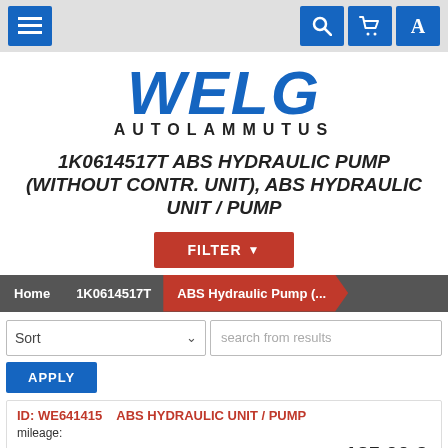[Figure (screenshot): Website navigation bar with hamburger menu icon on the left (blue) and search, cart, and account icons on the right (blue) on a grey background]
[Figure (logo): WELG AUTOLAMMUTUS logo in bold italic blue text with subtitle in black]
1K0614517T ABS HYDRAULIC PUMP (WITHOUT CONTR. UNIT), ABS HYDRAULIC UNIT / PUMP
FILTER ▼
Home  1K0614517T  ABS Hydraulic Pump (...
Sort
search from results
APPLY
ID: WE641415
ABS HYDRAULIC UNIT / PUMP
mileage:
135,00 €